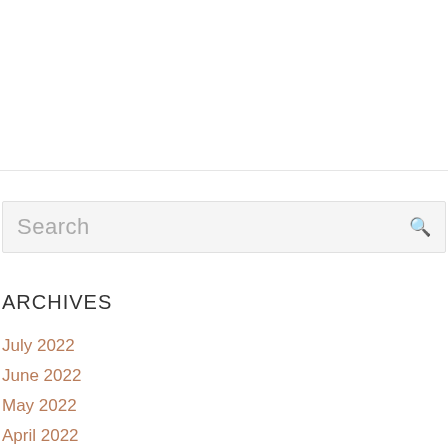Search
ARCHIVES
July 2022
June 2022
May 2022
April 2022
March 2022
February 2022